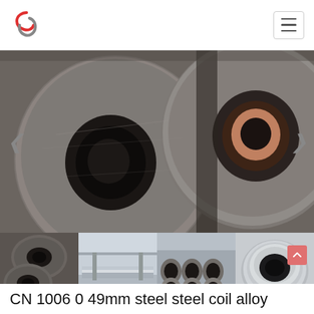UN logo and hamburger menu
[Figure (photo): Large steel coils photographed close-up showing cylindrical rolled steel with hollow cores, dark metallic color]
[Figure (photo): Four thumbnail images: small steel coils stacked, factory production line interior, warehouse with many large steel coils, single silver steel coil]
CN 1006 0 49mm steel steel coil alloy